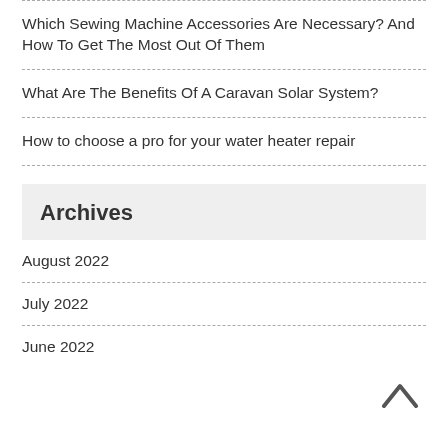Which Sewing Machine Accessories Are Necessary? And How To Get The Most Out Of Them
What Are The Benefits Of A Caravan Solar System?
How to choose a pro for your water heater repair
Archives
August 2022
July 2022
June 2022